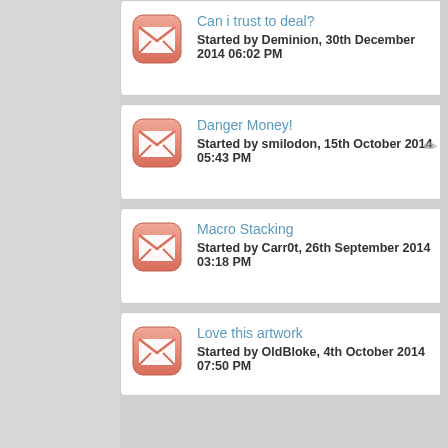Can i trust to deal? Started by Deminion, 30th December 2014 06:02 PM
Danger Money! Started by smilodon, 15th October 2014 05:43 PM
Macro Stacking Started by Carr0t, 26th September 2014 03:18 PM
Love this artwork Started by OldBloke, 4th October 2014 07:50 PM